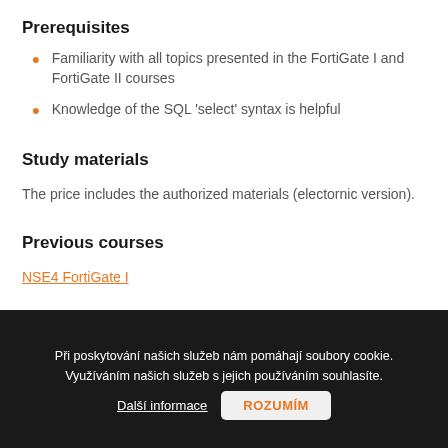Prerequisites
Familiarity with all topics presented in the FortiGate I and FortiGate II courses
Knowledge of the SQL 'select' syntax is helpful
Study materials
The price includes the authorized materials (electornic version).
Previous courses
NSE4 FortiGate I
Při poskytování našich služeb nám pomáhají soubory cookie. Využíváním našich služeb s jejich používáním souhlasíte.
Další informace    ROZUMÍM